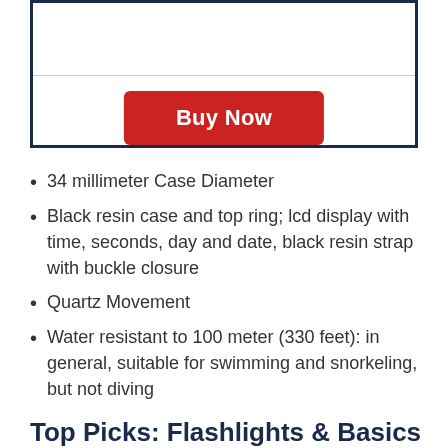[Figure (screenshot): A bordered box with a horizontal divider line and a red 'Buy Now' button centered below the divider.]
34 millimeter Case Diameter
Black resin case and top ring; lcd display with time, seconds, day and date, black resin strap with buckle closure
Quartz Movement
Water resistant to 100 meter (330 feet): in general, suitable for swimming and snorkeling, but not diving
Top Picks: Flashlights & Basics